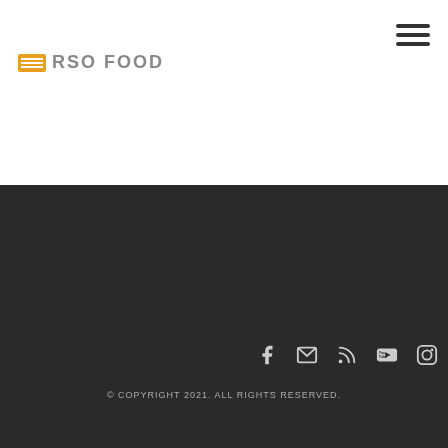[Figure (logo): RSS Food logo with orange icon and gray text]
Hamburger menu icon (three horizontal lines)
Social media icons: Facebook, Email, RSS, YouTube, Instagram
© COPYRIGHT 2021. ALL RIGHTS RESERVED.